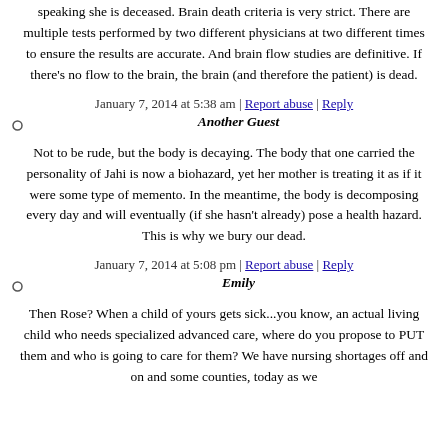speaking she is deceased. Brain death criteria is very strict. There are multiple tests performed by two different physicians at two different times to ensure the results are accurate. And brain flow studies are definitive. If there's no flow to the brain, the brain (and therefore the patient) is dead.
January 7, 2014 at 5:38 am | Report abuse | Reply
Another Guest
Not to be rude, but the body is decaying. The body that one carried the personality of Jahi is now a biohazard, yet her mother is treating it as if it were some type of memento. In the meantime, the body is decomposing every day and will eventually (if she hasn't already) pose a health hazard. This is why we bury our dead.
January 7, 2014 at 5:08 pm | Report abuse | Reply
Emily
Then Rose? When a child of yours gets sick...you know, an actual living child who needs specialized advanced care, where do you propose to PUT them and who is going to care for them? We have nursing shortages off and on and some counties, today as we